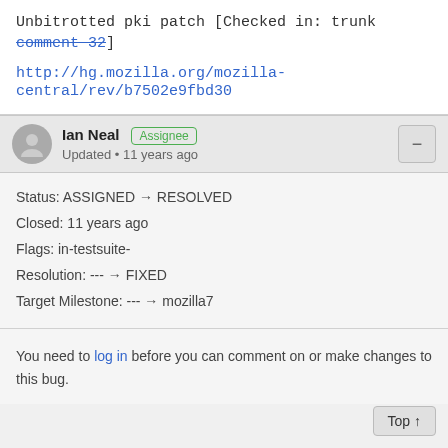Unbitrotted pki patch [Checked in: trunk comment 32]
http://hg.mozilla.org/mozilla-central/rev/b7502e9fbd30
Ian Neal  Assignee
Updated • 11 years ago
Status: ASSIGNED → RESOLVED
Closed: 11 years ago
Flags: in-testsuite-
Resolution: --- → FIXED
Target Milestone: --- → mozilla7
You need to log in before you can comment on or make changes to this bug.